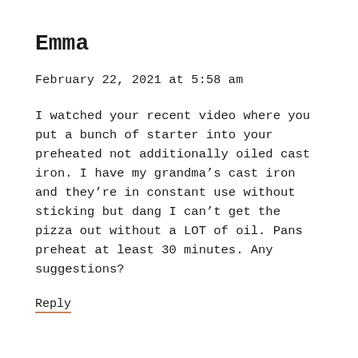Emma
February 22, 2021 at 5:58 am
I watched your recent video where you put a bunch of starter into your preheated not additionally oiled cast iron. I have my grandma’s cast iron and they’re in constant use without sticking but dang I can’t get the pizza out without a LOT of oil. Pans preheat at least 30 minutes. Any suggestions?
Reply